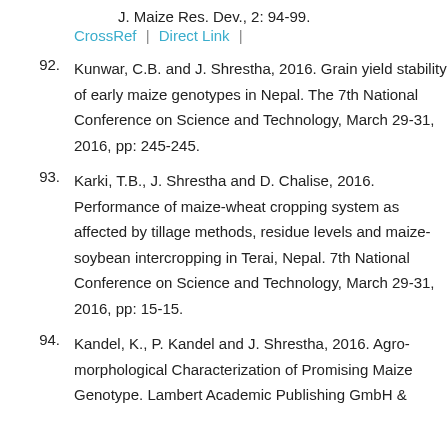J. Maize Res. Dev., 2: 94-99.
CrossRef | Direct Link |
92. Kunwar, C.B. and J. Shrestha, 2016. Grain yield stability of early maize genotypes in Nepal. The 7th National Conference on Science and Technology, March 29-31, 2016, pp: 245-245.
93. Karki, T.B., J. Shrestha and D. Chalise, 2016. Performance of maize-wheat cropping system as affected by tillage methods, residue levels and maize- soybean intercropping in Terai, Nepal. 7th National Conference on Science and Technology, March 29-31, 2016, pp: 15-15.
94. Kandel, K., P. Kandel and J. Shrestha, 2016. Agro-morphological Characterization of Promising Maize Genotype. Lambert Academic Publishing GmbH &